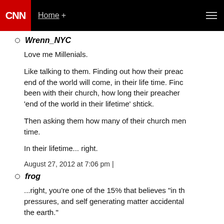CNN | Home +
Wrenn_NYC
Love me Millenials.

Like talking to them. Finding out how their preacher says the end of the world will come, in their life time. Finding out how long they been with their church, how long their preacher has been doing the 'end of the world in their lifetime' shtick.

Then asking them how many of their church members have died in that time.

In their lifetime... right.

August 27, 2012 at 7:06 pm |
frog
...right, you're one of the 15% that believes "in th pressures, and self generating matter accidentally the earth."